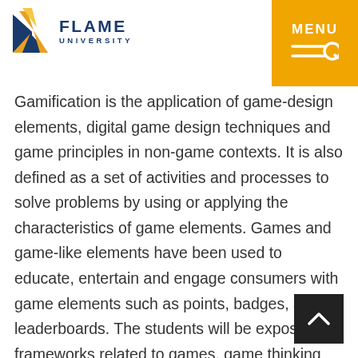FLAME UNIVERSITY
Gamification is the application of game-design elements, digital game design techniques and game principles in non-game contexts. It is also defined as a set of activities and processes to solve problems by using or applying the characteristics of game elements. Games and game-like elements have been used to educate, entertain and engage consumers with game elements such as points, badges, and leaderboards. The students will be exposed to frameworks related to games, game thinking and game designing towards gaining a holistic understanding of “gamification”. They will also work on creating gamified solutions to a variety of marketing issues.